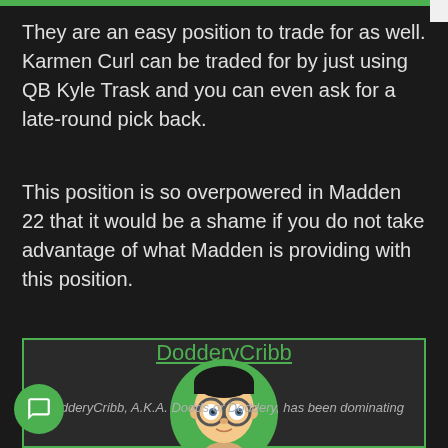They are an easy position to trade for as well. Karmen Curl can be traded for by just using QB Kyle Trask and you can even ask for a late-round pick back.
This position is so overpowered in Madden 22 that it would be a shame if you do not take advantage of what Madden is providing with this position.
[Figure (illustration): Author box with green border containing a cartoon avatar of a person with glasses on a green circular background, author name DodderyCribb in green underlined text, and partial author description text]
DodderyCribb
DodderyCribb, A.K.A. Dodds or Doddery, has been dominating